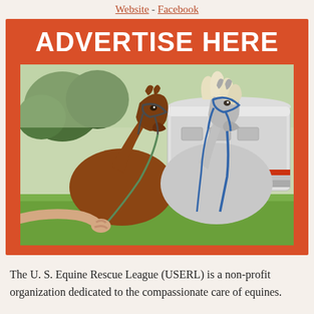Website - Facebook
ADVERTISE HERE
[Figure (photo): Two horses, one brown and one white/grey, with halters and lead ropes, touching noses near a white horse trailer on grass. A person's hand is visible at lower left holding a lead rope.]
The U. S. Equine Rescue League (USERL) is a non-profit organization dedicated to the compassionate care of equines.